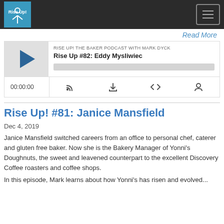Rise Up! podcast site header with logo and hamburger menu
Read More
[Figure (screenshot): Podcast player widget for Rise Up #82: Eddy Mysliwiec. Shows play button, progress bar, time 00:00:00, and controls (RSS, download, embed, share).]
Rise Up! #81: Janice Mansfield
Dec 4, 2019
Janice Mansfield switched careers from an office to personal chef, caterer and gluten free baker.  Now she is the Bakery Manager of Yonni's Doughnuts, the sweet and leavened counterpart to the excellent Discovery Coffee roasters and coffee shops.
In this episode, Mark learns about how Yonni's has risen and evolved...